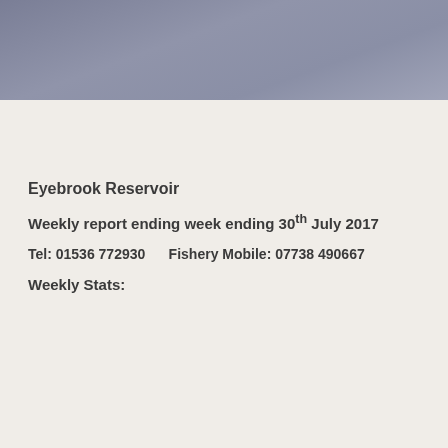[Figure (photo): Grey water/sky panoramic banner image of Eyebrook Reservoir]
Home   COVID-19 Update   About Us   Latest Report
Eyebrook Reservoir
Weekly report ending week ending 30th July 2017
Tel: 01536 772930      Fishery Mobile: 07738 490667
Weekly Stats: